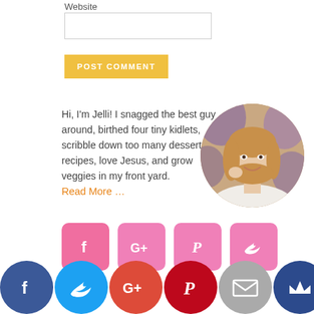Website
POST COMMENT
Hi, I'm Jelli! I snagged the best guy around, birthed four tiny kidlets, scribble down too many dessert recipes, love Jesus, and grow veggies in my front yard. Read More …
[Figure (photo): Circular profile photo of a smiling woman with long blonde hair, wearing white, with a floral background]
[Figure (infographic): Four pink rounded square social media icons: Facebook (f), Google+ (G+), Pinterest (P), Twitter (bird)]
[Figure (infographic): Six circular social media share icons at the bottom: Facebook (dark blue), Twitter (light blue), Google+ (red-orange), Pinterest (red), Email (gray), Crown/unknown (dark blue)]